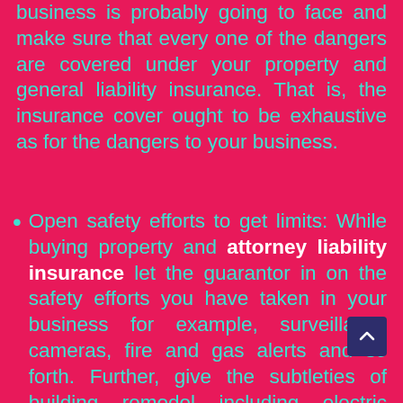business is probably going to face and make sure that every one of the dangers are covered under your property and general liability insurance. That is, the insurance cover ought to be exhaustive as for the dangers to your business.
Open safety efforts to get limits: While buying property and attorney liability insurance let the guarantor in on the safety efforts you have taken in your business for example, surveillance cameras, fire and gas alerts and so forth. Further, give the subtleties of building remodel including electric working, plumbing, significant fixes especially in the roof, ceiling and